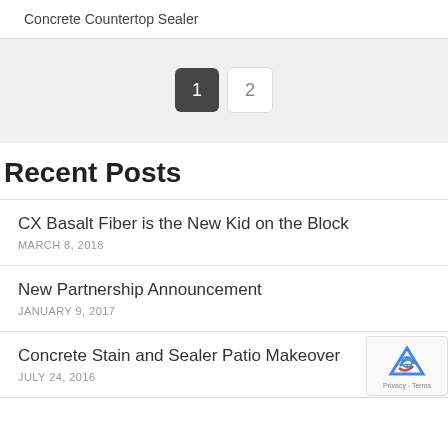Concrete Countertop Sealer
[Figure (screenshot): Pagination control with page 1 active (dark button) and page 2 inactive (light button) on a gray background]
Recent Posts
CX Basalt Fiber is the New Kid on the Block
MARCH 8, 2018
New Partnership Announcement
JANUARY 9, 2017
Concrete Stain and Sealer Patio Makeover
JULY 24, 2016